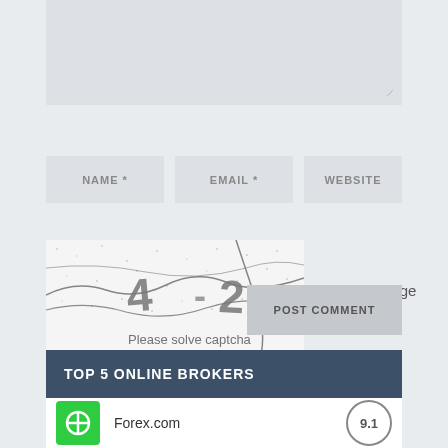[Figure (screenshot): Text input area (comment box) with resize handle at bottom right]
NAME *
EMAIL *
WEBSITE
[Figure (other): CAPTCHA image showing '4 - 2' with distorted lines and text 'Please solve captcha']
Change Image
Recaptcha
POST COMMENT
TOP 5 ONLINE BROKERS
Forex.com
9.1